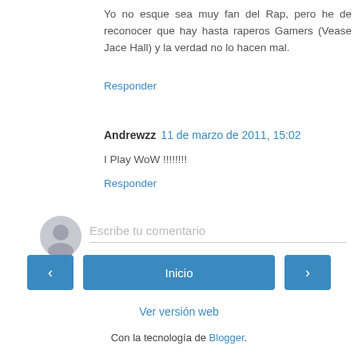Yo no esque sea muy fan del Rap, pero he de reconocer que hay hasta raperos Gamers (Vease Jace Hall) y la verdad no lo hacen mal.
Responder
Andrewzz  11 de marzo de 2011, 15:02
I Play WoW !!!!!!!!
Responder
Escribe tu comentario
Inicio
Ver versión web
Con la tecnología de Blogger.